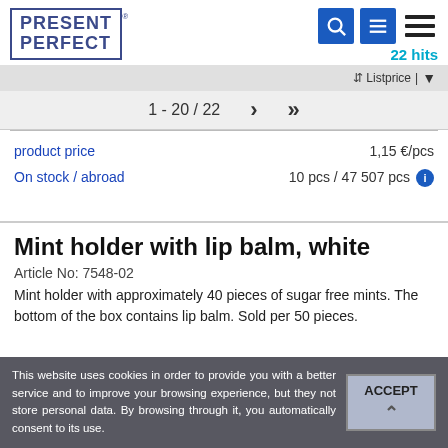PRESENT PERFECT
22 hits
Listprice
1 - 20 / 22
product price  1,15 €/pcs
On stock / abroad  10 pcs / 47 507 pcs
Mint holder with lip balm, white
Article No: 7548-02
Mint holder with approximately 40 pieces of sugar free mints. The bottom of the box contains lip balm. Sold per 50 pieces.
This website uses cookies in order to provide you with a better service and to improve your browsing experience, but they not store personal data. By browsing through it, you automatically consent to its use.